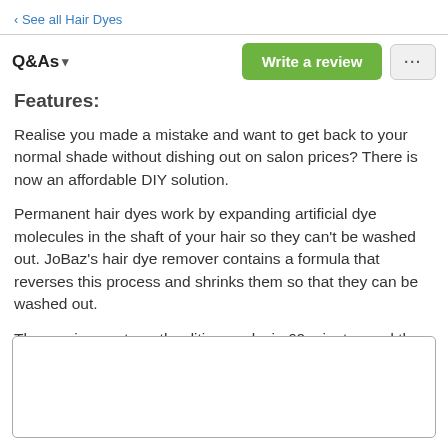‹ See all Hair Dyes
Q&As ▾
Features:
Realise you made a mistake and want to get back to your normal shade without dishing out on salon prices? There is now an affordable DIY solution.
Permanent hair dyes work by expanding artificial dye molecules in the shaft of your hair so they can't be washed out. JoBaz's hair dye remover contains a formula that reverses this process and shrinks them so that they can be washed out.
The maximum strength edition works in 60 minutes and the normal strength product works in 30
[Figure (other): White rectangular placeholder box at bottom of page]